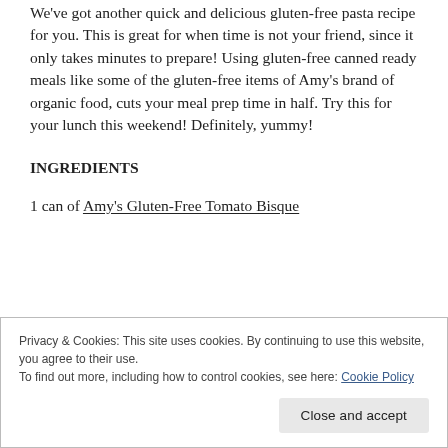We've got another quick and delicious gluten-free pasta recipe for you. This is great for when time is not your friend, since it only takes minutes to prepare! Using gluten-free canned ready meals like some of the gluten-free items of Amy's brand of organic food, cuts your meal prep time in half. Try this for your lunch this weekend! Definitely, yummy!
INGREDIENTS
1 can of Amy's Gluten-Free Tomato Bisque
Privacy & Cookies: This site uses cookies. By continuing to use this website, you agree to their use.
To find out more, including how to control cookies, see here: Cookie Policy
Close and accept